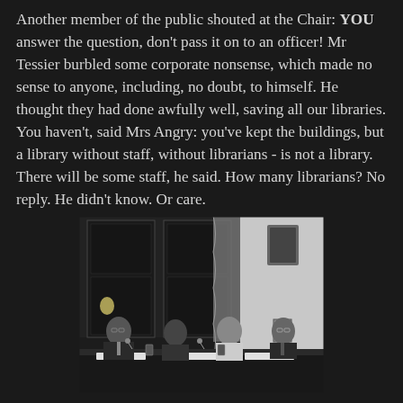Another member of the public shouted at the Chair: YOU answer the question, don't pass it on to an officer! Mr Tessier burbled some corporate nonsense, which made no sense to anyone, including, no doubt, to himself. He thought they had done awfully well, saving all our libraries. You haven't, said Mrs Angry: you've kept the buildings, but a library without staff, without librarians - is not a library. There will be some staff, he said. How many librarians? No reply. He didn't know. Or care.
[Figure (photo): Black and white photograph of four men seated at a long table during what appears to be a public meeting or panel discussion. The setting is a formal room with large wooden doors and curtains visible in the background. Name placards are visible on the table in front of the seated men.]